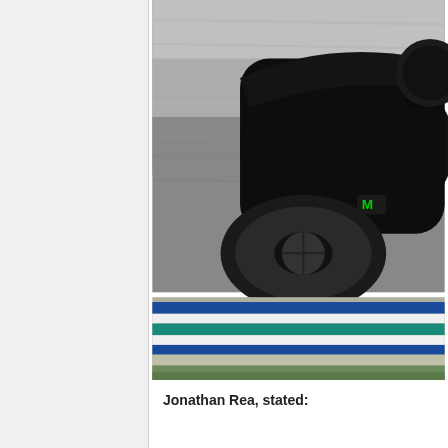[Figure (photo): Close-up action photo of a motorcycle racer leaning into a corner on a racing circuit. The motorcycle is black with Monster Energy branding. The track features blue and teal curbing at the bottom of the frame. Background shows motion-blurred gray tarmac.]
Jonathan Rea, stated: